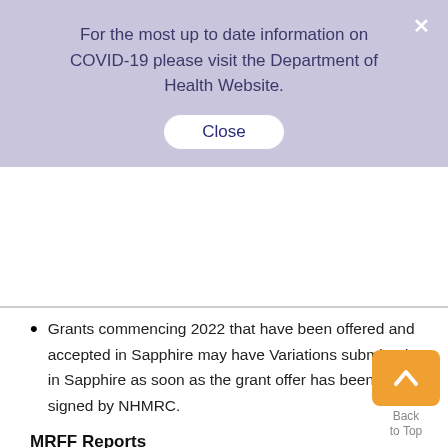For the most up to date information on COVID-19 please visit the Department of Health Website.
Close
Grants commencing 2022 that have been offered and accepted in Sapphire may have Variations submitted in Sapphire as soon as the grant offer has been co-signed by NHMRC.
MRFF Reports
MRFF Reports are to continue to be submitted to mrff.postaward@nhmrc.gov.au using the templates available on NHMRC's